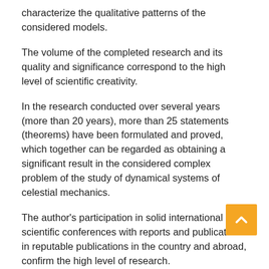characterize the qualitative patterns of the considered models.
The volume of the completed research and its quality and significance correspond to the high level of scientific creativity.
In the research conducted over several years (more than 20 years), more than 25 statements (theorems) have been formulated and proved, which together can be regarded as obtaining a significant result in the considered complex problem of the study of dynamical systems of celestial mechanics.
The author’s participation in solid international scientific conferences with reports and publications in reputable publications in the country and abroad, confirm the high level of research.
The most difficult problem of stability of stationary